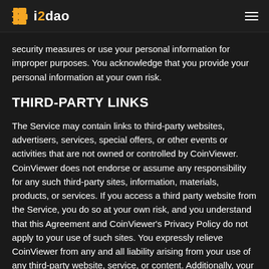Bi2dao
security measures or use your personal information for improper purposes. You acknowledge that you provide your personal information at your own risk.
THIRD-PARTY LINKS
The Service may contain links to third-party websites, advertisers, services, special offers, or other events or activities that are not owned or controlled by CoinViewer. CoinViewer does not endorse or assume any responsibility for any such third-party sites, information, materials, products, or services. If you access a third party website from the Service, you do so at your own risk, and you understand that this Agreement and CoinViewer's Privacy Policy do not apply to your use of such sites. You expressly relieve CoinViewer from any and all liability arising from your use of any third-party website, service, or content. Additionally, your dealings with or participation in